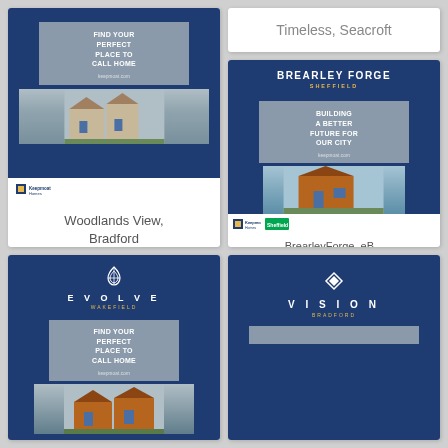[Figure (illustration): Keepmoat Homes brochure cover: 'Find Your Perfect Place To Call Home' with house photo, blue background, logo bar]
Woodlands View, Bradford
[Figure (illustration): Evolve Wakefield brochure cover: EVOLVE logo, leaf icon, navy background, 'Find Your Perfect Place To Call Home' panel with photo]
Timeless, Seacroft
[Figure (illustration): Brearley Forge Sheffield brochure: navy blue cover with 'Building A Better Future For Our City' grey panel, house photo, Keepmoat/Sheffield logos]
BrearleyForge_eB...
[Figure (illustration): Vision Bradford brochure cover: diamond icon, VISION lettering, navy background, grey strip at bottom]